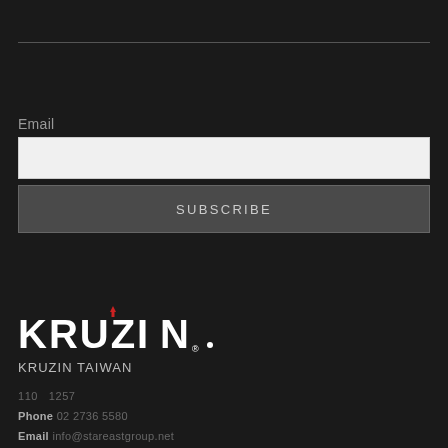Email
SUBSCRIBE
[Figure (logo): KRUZIN logo in white bold letters with a small red heart/tulip icon above the letter I]
KRUZIN TAIWAN
110   1257
Phone: 02 2736 5580
Email: info@stareastgroup.net